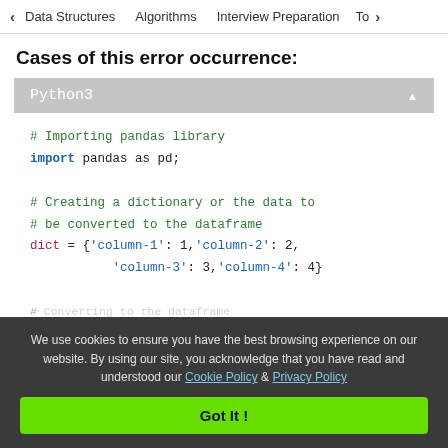< Data Structures   Algorithms   Interview Preparation   To>
Cases of this error occurrence:
[Figure (screenshot): Python3 code block showing pandas import and dict creation. Code: # Importing pandas library / import pandas as pd; / # Creating a dictionary or the data to / # be converted to the dataframe / dict = {'column-1': 1,'column-2': 2, 'column-3': 3,'column-4': 4}]
We use cookies to ensure you have the best browsing experience on our website. By using our site, you acknowledge that you have read and understood our Cookie Policy & Privacy Policy
Got It !